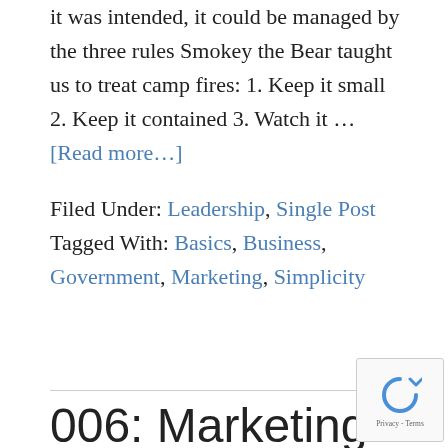it was intended, it could be managed by the three rules Smokey the Bear taught us to treat camp fires: 1. Keep it small 2. Keep it contained 3. Watch it … [Read more…]
Filed Under: Leadership, Single Post
Tagged With: Basics, Business, Government, Marketing, Simplicity
006: Marketing